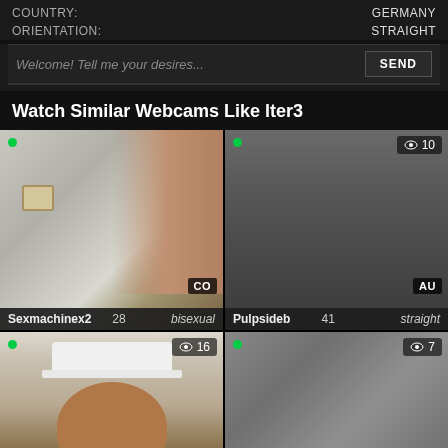COUNTRY: GERMANY
ORIENTATION: STRAIGHT
Welcome! Tell me your desires...
Watch Similar Webcams Like lter3
[Figure (screenshot): Webcam thumbnail of Sexmachinex2, 28 bisexual, CO, 3 viewers]
[Figure (screenshot): Webcam thumbnail of Pulpsideb, 41 straight, AU, 10 viewers]
[Figure (screenshot): Webcam thumbnail, 16 viewers, man with white cap]
[Figure (screenshot): Webcam thumbnail, 7 viewers]